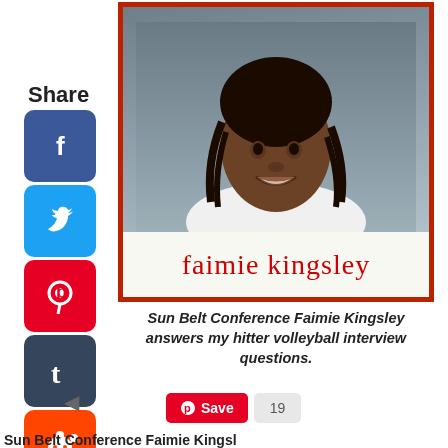Share
[Figure (photo): Polaroid-style photo of Faimie Kingsley, a young woman with braided hair wearing a white top, with her name written in red cursive script below the photo. Social media share icons (Facebook, Twitter, Pinterest, Tumblr, Reddit, WhatsApp) are shown to the left. A Pinterest Save button with count 19 is shown below.]
Sun Belt Conference Faimie Kingsley answers my hitter volleyball interview questions.
Save
19
Sun Belt Conference Faimie Kingsley